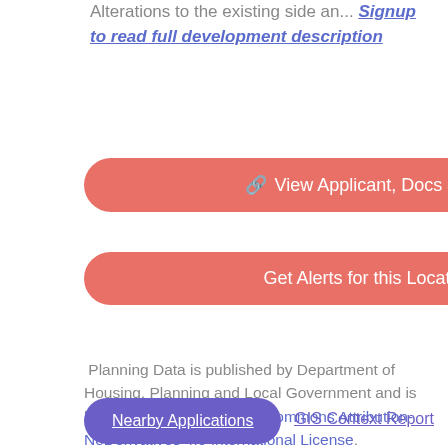Alterations to the existing side an... Signup to read full development description
View Applicant, Docs & File
Get Alerts for this Location
Planning Data is published by Department of Housing, Planning and Local Government and is licensed under a Creative Commons Attribution-NoDerivatives 4.0 International License.
Nearby Applications
GIS Context Report